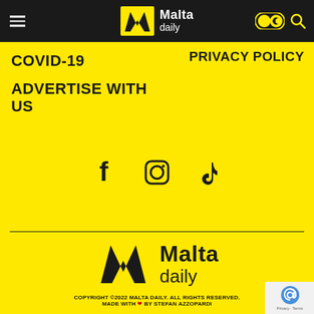Malta daily — navigation bar with hamburger menu, logo, dark mode toggle, search icon
COVID-19
PRIVACY POLICY
ADVERTISE WITH US
[Figure (logo): Social media icons: Facebook, Instagram, TikTok]
[Figure (logo): Malta Daily logo (large) – black M chevron mark with 'Malta daily' text]
COPYRIGHT ©2022 MALTA DAILY. ALL RIGHTS RESERVED. MADE WITH ❤ BY STEFAN AZZOPARDI